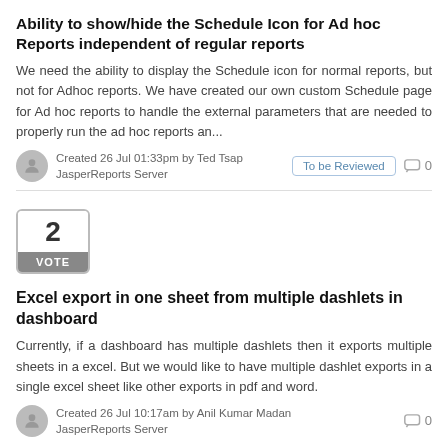Ability to show/hide the Schedule Icon for Ad hoc Reports independent of regular reports
We need the ability to display the Schedule icon for normal reports, but not for Adhoc reports. We have created our own custom Schedule page for Ad hoc reports to handle the external parameters that are needed to properly run the ad hoc reports an...
Created 26 Jul 01:33pm by Ted Tsap
JasperReports Server
To be Reviewed
0
[Figure (infographic): Vote widget showing number 2 with VOTE label]
Excel export in one sheet from multiple dashlets in dashboard
Currently, if a dashboard has multiple dashlets then it exports multiple sheets in a excel. But we would like to have multiple dashlet exports in a single excel sheet like other exports in pdf and word.
Created 26 Jul 10:17am by Anil Kumar Madan
JasperReports Server
0